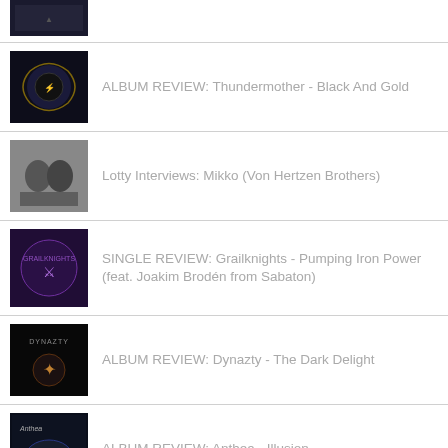(album cover thumbnail - partial row)
ALBUM REVIEW: Thundermother - Black And Gold
Lotty Interviews: Mikko (Von Hertzen Brothers)
SINGLE REVIEW: Grailknights - Pumping Iron Power (feat. Joakim Brodén from Sabaton)
ALBUM REVIEW: Dynazty - The Dark Delight
ALBUM REVIEW: Anthea - Illusion
ALBUM REVIEW: Pyramaze - Epitaph